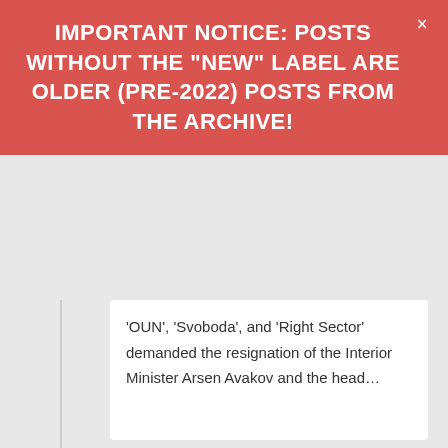IMPORTANT NOTICE: POSTS WITHOUT THE "NEW" LABEL ARE OLDER (PRE-2022) POSTS FROM THE ARCHIVE!
'OUN', 'Svoboda', and 'Right Sector' demanded the resignation of the Interior Minister Arsen Avakov and the head…
0 Comments
5 months ago
[Figure (photo): A middle-aged man in a suit standing in front of US and Ukrainian flags, appearing to be at an official press conference or diplomatic event.]